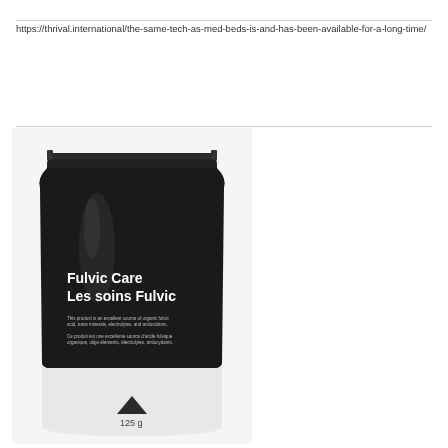https://thrival.international/the-same-tech-as-med-beds-is-and-has-been-available-for-a-long-time/
[Figure (photo): Black pouch product package labeled 'Fulvic Care / Les soins Fulvic' with small descriptive text in English and French, showing 125g quantity with a small pile of dark powder visible at the bottom.]